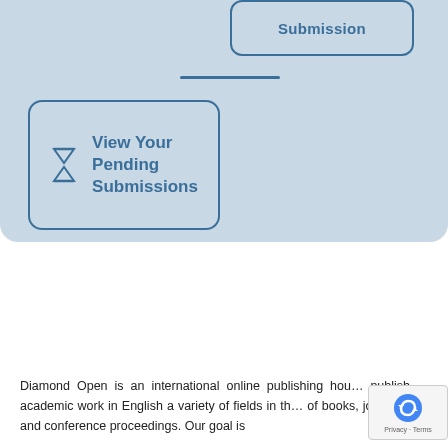[Figure (screenshot): UI screenshot showing a rounded rectangle button labeled 'Submission' with a blue border at top, a horizontal blue divider line, and a larger rounded rectangle button with an hourglass icon labeled 'View Your Pending Submissions', all on a light blue-gray background panel.]
Diamond Open is an international online publishing house … publish academic work in English a variety of fields in th… of books, journals, and conference proceedings. Our goal is